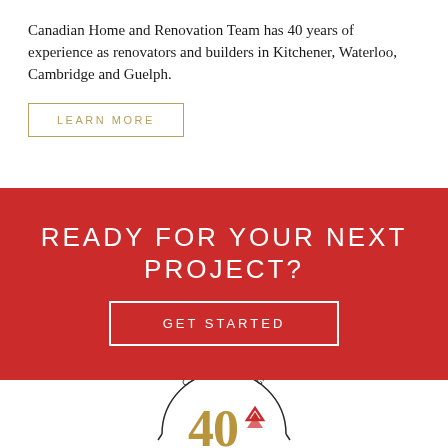Canadian Home and Renovation Team has 40 years of experience as renovators and builders in Kitchener, Waterloo, Cambridge and Guelph.
LEARN MORE
READY FOR YOUR NEXT PROJECT?
GET STARTED
[Figure (logo): Celebrating 40 years anniversary badge/logo with circular arc text 'CELEBRATING' at top, large '40' in gold with a red stylized house/chevron icon, and tick marks at the bottom of the arc.]